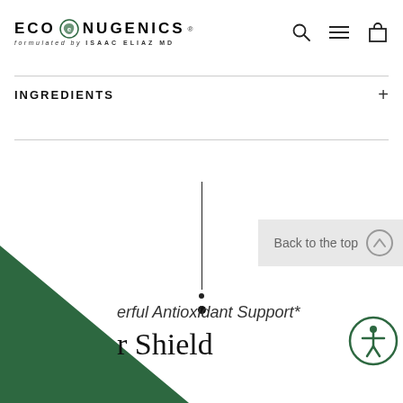EcoNugenics — formulated by Isaac Eliaz MD
INGREDIENTS
[Figure (other): Loading spinner — vertical line with two dots below indicating content loading]
Back to the top
GET 10% OFF
erful Antioxidant Support*
r Shield